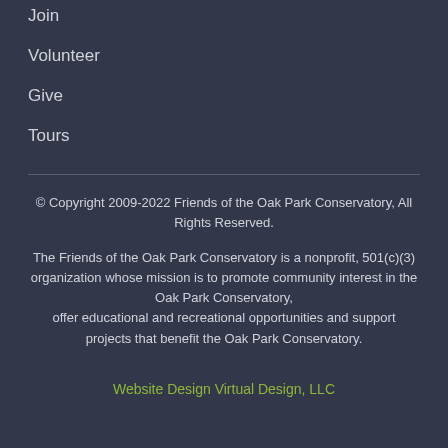Join
Volunteer
Give
Tours
© Copyright 2009-2022 Friends of the Oak Park Conservatory, All Rights Reserved.

The Friends of the Oak Park Conservatory is a nonprofit, 501(c)(3) organization whose mission is to promote community interest in the Oak Park Conservatory, offer educational and recreational opportunities and support projects that benefit the Oak Park Conservatory.
Website Design Virtual Design, LLC